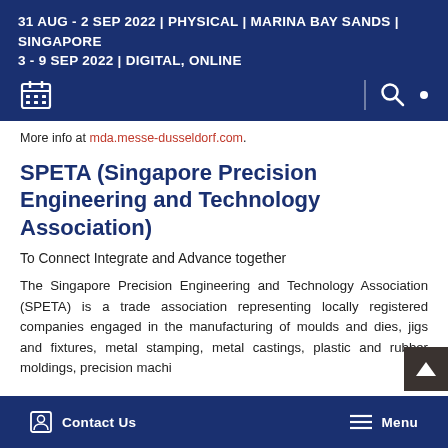31 AUG - 2 SEP 2022 | PHYSICAL | MARINA BAY SANDS | SINGAPORE
3 - 9 SEP 2022 | DIGITAL, ONLINE
More info at mda.messe-dusseldorf.com.
SPETA (Singapore Precision Engineering and Technology Association)
To Connect Integrate and Advance together
The Singapore Precision Engineering and Technology Association (SPETA) is a trade association representing locally registered companies engaged in the manufacturing of moulds and dies, jigs and fixtures, metal stamping, metal castings, plastic and rubber moldings, precision machi
Contact Us   Menu